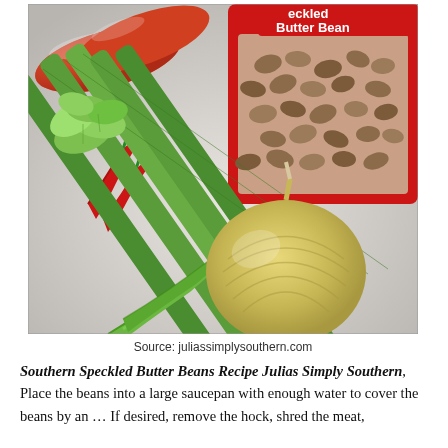[Figure (photo): Ingredients for Southern Speckled Butter Beans: celery stalks with leaves, a whole onion, green chili peppers, red chili peppers, sausages/hot links, and a red package of speckled butter beans in the background on a white surface.]
Source: juliassimplysouthern.com
Southern Speckled Butter Beans Recipe Julias Simply Southern, Place the beans into a large saucepan with enough water to cover the beans by an … If desired, remove the hock, shred the meat,